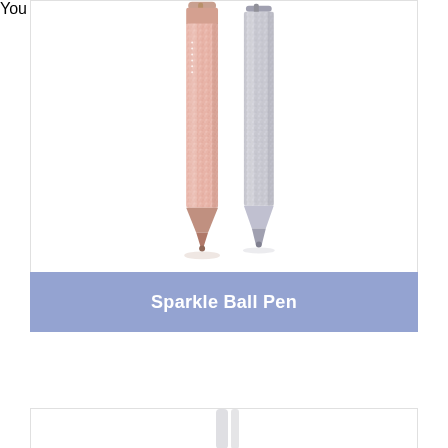[Figure (photo): Two sparkle glitter ballpoint pens displayed side by side — one rose gold/pink and one silver — shown vertically against a white background. Both pens have metallic tips and a glittery textured barrel.]
Sparkle Ball Pen
You May Also Like
[Figure (photo): Partial view of another product card at the bottom of the page, showing the beginning of another item in a 'You May Also Like' section.]